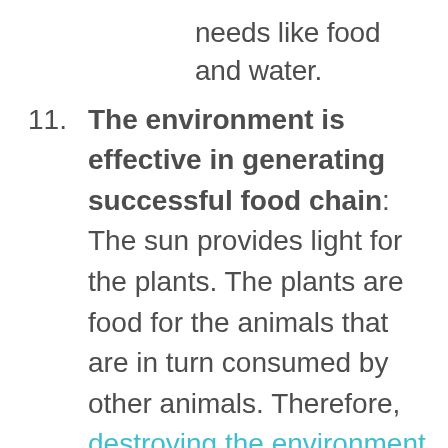needs like food and water.
11. The environment is effective in generating successful food chain: The sun provides light for the plants. The plants are food for the animals that are in turn consumed by other animals. Therefore, destroying the environment would destroy the food chain